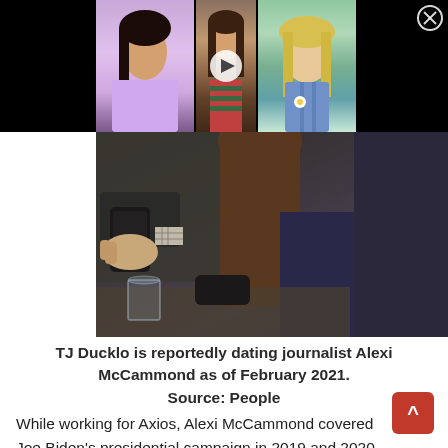[Figure (photo): Top banner with three photos of women (celebrity/entertainment images) on black background, with a play button overlay on the center image and a close (X) button in the top-right corner.]
[Figure (photo): Main photo showing two people at a table — one holding a phone, another with long brown hair — in a dark, candid setting with a glass visible in the foreground.]
TJ Ducklo is reportedly dating journalist Alexi McCammond as of February 2021. Source: People
While working for Axios, Alexi McCammond covered Joe Biden's presidential campaign in 2019 and 2020. This way, she got in contact with